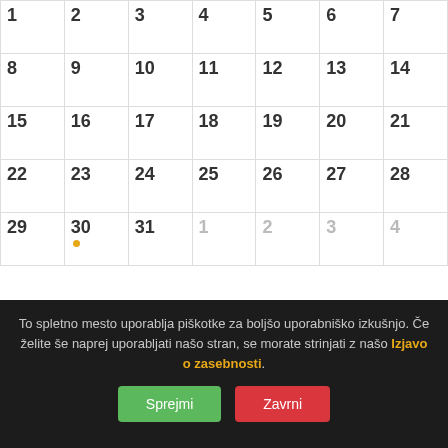|  |  |  |  |  |  |  |
| --- | --- | --- | --- | --- | --- | --- |
| 1 | 2 | 3 | 4 | 5 | 6 | 7 |
| 8 | 9 | 10 | 11 | 12 | 13 | 14 |
| 15 | 16 | 17 | 18 | 19 | 20 | 21 |
| 22 | 23 | 24 | 25 | 26 | 27 | 28 |
| 29 | 30 | 31 | 1 | 2 | 3 | 4 |
Dogodki za 29 avgust
⏱ Celodnevni dogodek
To spletno mesto uporablja piškotke za boljšo uporabniško izkušnjo. Če želite še naprej uporabljati našo stran, se morate strinjati z našo Izjavo o zasebnosti.
Sprejmi
Zavrni